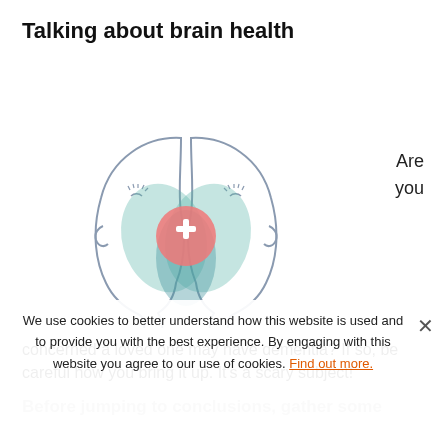Talking about brain health
[Figure (illustration): Two face silhouettes facing each other with overlapping teardrop/brain shapes in teal, and a pink circle with a white medical cross in the center]
Are you
concerned a loved one may have dementia? If so, be careful how you bring it up. It's a scary subject!
Before jumping to conclusions, gather some information from the family. Ask them what they have observed. Have others noticed changes?
We use cookies to better understand how this website is used and to provide you with the best experience. By engaging with this website you agree to our use of cookies. Find out more.